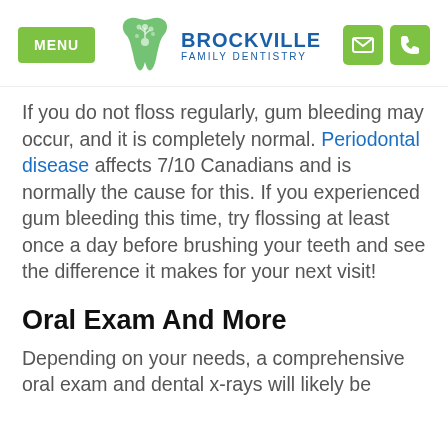MENU | BROCKVILLE FAMILY DENTISTRY
If you do not floss regularly, gum bleeding may occur, and it is completely normal. Periodontal disease affects 7/10 Canadians and is normally the cause for this. If you experienced gum bleeding this time, try flossing at least once a day before brushing your teeth and see the difference it makes for your next visit!
Oral Exam And More
Depending on your needs, a comprehensive oral exam and dental x-rays will likely be